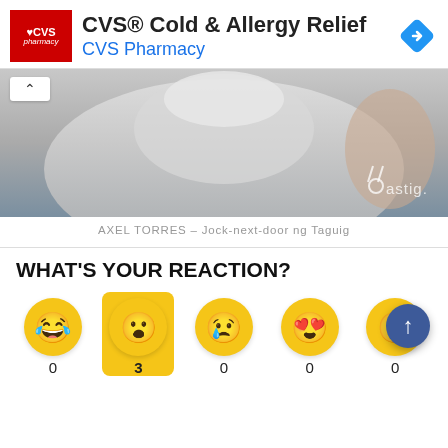[Figure (screenshot): CVS Pharmacy advertisement banner with red CVS logo, title 'CVS® Cold & Allergy Relief' and subtitle 'CVS Pharmacy' in blue, with a navigation arrow icon.]
[Figure (photo): Photo of a person's torso/neck area against a grey background with 'astig.ph' watermark and logo.]
AXEL TORRES – Jock-next-door ng Taguig
WHAT'S YOUR REACTION?
[Figure (screenshot): Reaction emoji row: laughing (0), crying with open mouth (3), crying tears (0), heart eyes (0), angry (0), with scroll-up FAB button.]